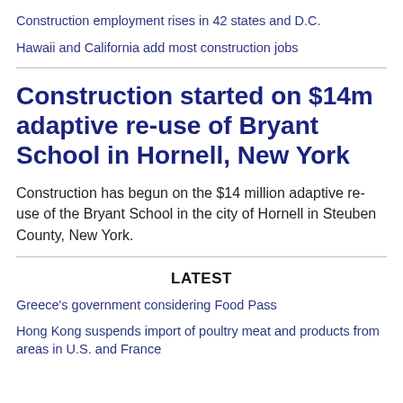Construction employment rises in 42 states and D.C.
Hawaii and California add most construction jobs
Construction started on $14m adaptive re-use of Bryant School in Hornell, New York
Construction has begun on the $14 million adaptive re-use of the Bryant School in the city of Hornell in Steuben County, New York.
LATEST
Greece's government considering Food Pass
Hong Kong suspends import of poultry meat and products from areas in U.S. and France